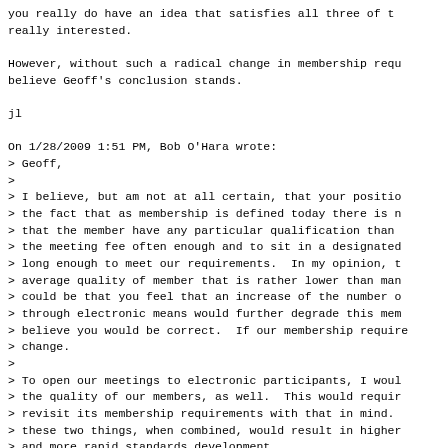you really do have an idea that satisfies all three of t really interested.

However, without such a radical change in membership requ believe Geoff's conclusion stands.

jl

On 1/28/2009 1:51 PM, Bob O'Hara wrote:
> Geoff,
>
> I believe, but am not at all certain, that your positio
> the fact that as membership is defined today there is n
> that the member have any particular qualification than
> the meeting fee often enough and to sit in a designated
> long enough to meet our requirements.  In my opinion, t
> average quality of member that is rather lower than man
> could be that you feel that an increase of the number o
> through electronic means would further degrade this mem
> believe you would be correct.  If our membership require
> change.
>
> To open our meetings to electronic participants, I woul
> the quality of our members, as well.  This would requir
> revisit its membership requirements with that in mind.
> these two things, when combined, would result in higher
> and more rapid standards development.
>
> I would expect that our chairs would continue to exerc:
> to run a meeting by limiting discussions of "low qualif
> do now.  I don't see how having more participants will